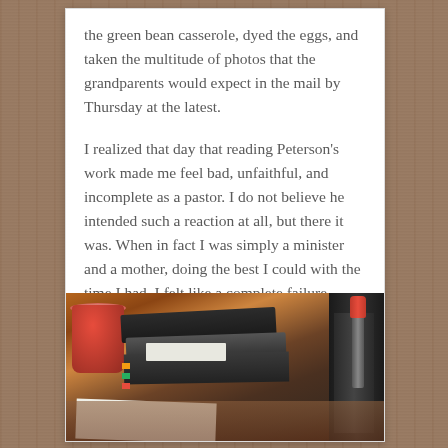the green bean casserole, dyed the eggs, and taken the multitude of photos that the grandparents would expect in the mail by Thursday at the latest.
I realized that day that reading Peterson's work made me feel bad, unfaithful, and incomplete as a pastor. I do not believe he intended such a reaction at all, but there it was. When in fact I was simply a minister and a mother, doing the best I could with the time I had, I felt like a complete failure reading his stories.
[Figure (photo): Photo of a desk with a red cup/pen holder, dark binders and books stacked, a red-capped pen, and white papers visible at the bottom edge.]